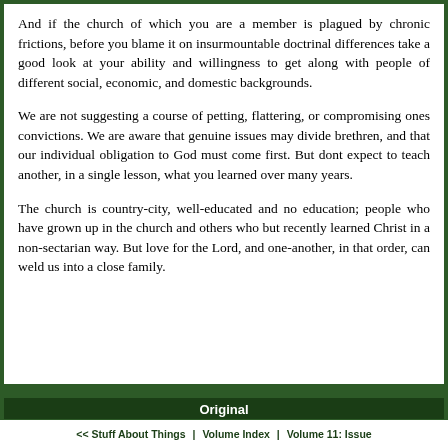And if the church of which you are a member is plagued by chronic frictions, before you blame it on insurmountable doctrinal differences take a good look at your ability and willingness to get along with people of different social, economic, and domestic backgrounds.
We are not suggesting a course of petting, flattering, or compromising ones convictions. We are aware that genuine issues may divide brethren, and that our individual obligation to God must come first. But dont expect to teach another, in a single lesson, what you learned over many years.
The church is country-city, well-educated and no education; people who have grown up in the church and others who but recently learned Christ in a non-sectarian way. But love for the Lord, and one-another, in that order, can weld us into a close family.
Original
<< Stuff About Things | Volume Index | Volume 11: Issue Index | Young People's Program >>